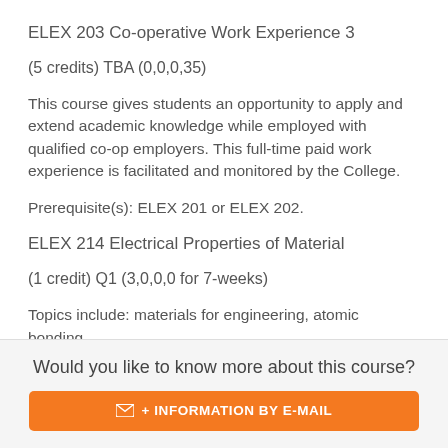ELEX 203 Co-operative Work Experience 3
(5 credits) TBA (0,0,0,35)
This course gives students an opportunity to apply and extend academic knowledge while employed with qualified co-op employers. This full-time paid work experience is facilitated and monitored by the College.
Prerequisite(s): ELEX 201 or ELEX 202.
ELEX 214 Electrical Properties of Material
(1 credit) Q1 (3,0,0,0 for 7-weeks)
Topics include: materials for engineering, atomic bonding,
Would you like to know more about this course?
+ INFORMATION BY E-MAIL